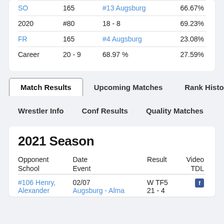|  |  |  |  |
| --- | --- | --- | --- |
| SO | 165 | #13 Augsburg | 66.67% |
| 2020 | #80 | 18 - 8 | 69.23% |
| FR | 165 | #4 Augsburg | 23.08% |
| Career | 20 - 9 | 68.97 % | 27.59% |
Match Results
Upcoming Matches
Rank History
Wrestler Info
Conf Results
Quality Matches
2021 Season
| Opponent School | Date Event | Result | Video TDL |
| --- | --- | --- | --- |
| #106 Henry, Alexander | 02/07 Augsburg - Alma | W TF5 21 - 4 |  |